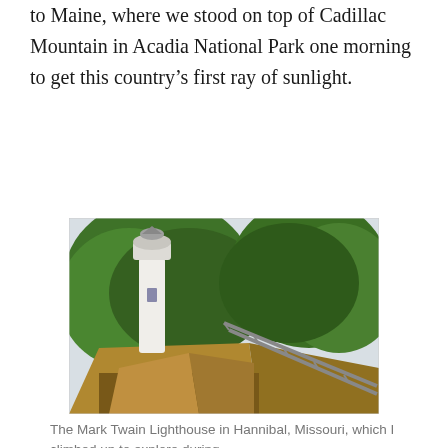to Maine, where we stood on top of Cadillac Mountain in Acadia National Park one morning to get this country's first ray of sunlight.
[Figure (photo): A white lighthouse tower rising above green trees on a rocky cliff, with a wooden staircase/walkway descending diagonally to the right. The Mark Twain Lighthouse in Hannibal, Missouri.]
The Mark Twain Lighthouse in Hannibal, Missouri, which I climbed up to explore during